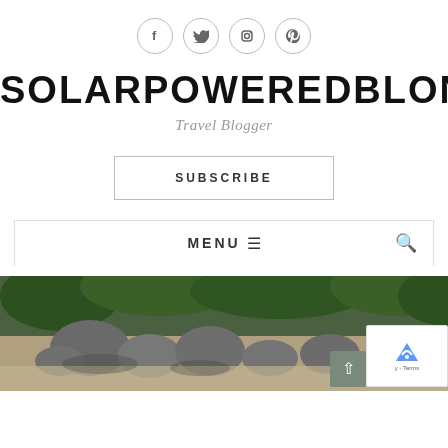[Figure (infographic): Four social media icon circles: Facebook (f), Twitter (bird), Instagram (camera), Pinterest (p)]
SOLARPOWEREDBLONDE
Travel Blogger
SUBSCRIBE
MENU ☰
[Figure (photo): Aerial view of rocky beach with large boulders, sandy shore, and dense green vegetation/trees in the background.]